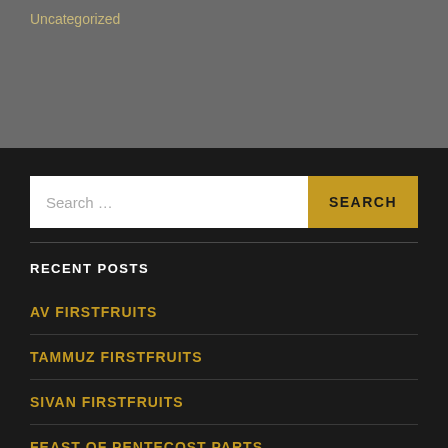Uncategorized
Search ...
SEARCH
RECENT POSTS
AV FIRSTFRUITS
TAMMUZ FIRSTFRUITS
SIVAN FIRSTFRUITS
FEAST OF PENTECOST PARTS